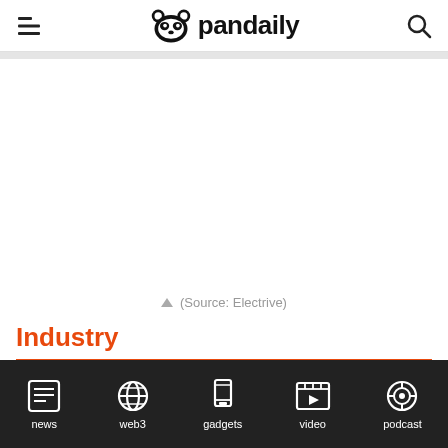pandaily
[Figure (other): Large white/blank image area in the center of the page]
▲ (Source: Electrive)
Industry
news | web3 | gadgets | video | podcast